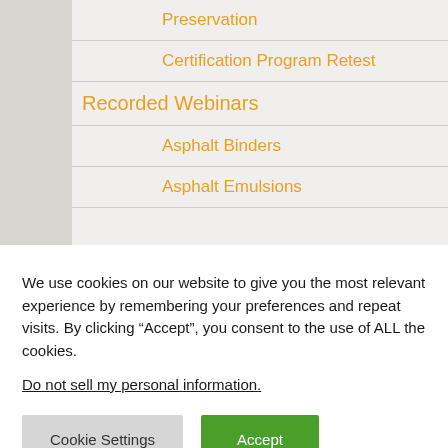Preservation
Certification Program Retest
Recorded Webinars
Asphalt Binders
Asphalt Emulsions
We use cookies on our website to give you the most relevant experience by remembering your preferences and repeat visits. By clicking “Accept”, you consent to the use of ALL the cookies.
Do not sell my personal information.